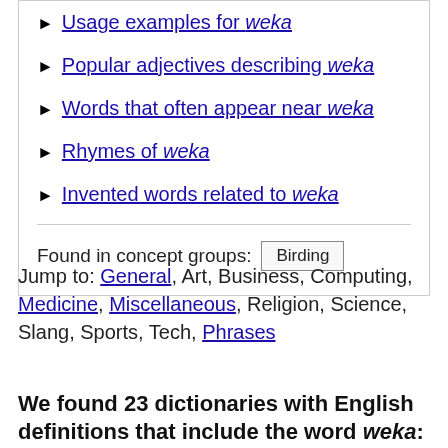Usage examples for weka
Popular adjectives describing weka
Words that often appear near weka
Rhymes of weka
Invented words related to weka
Found in concept groups: Birding
Jump to: General, Art, Business, Computing, Medicine, Miscellaneous, Religion, Science, Slang, Sports, Tech, Phrases
We found 23 dictionaries with English definitions that include the word weka: